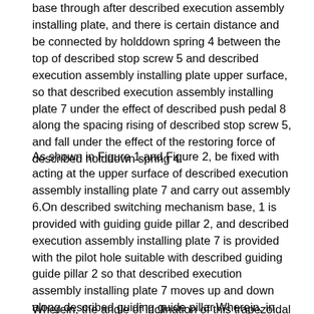base through after described execution assembly installing plate, and there is certain distance and be connected by holddown spring 4 between the top of described stop screw 5 and described execution assembly installing plate upper surface, so that described execution assembly installing plate 7 under the effect of described push pedal 8 along the spacing rising of described stop screw 5, and fall under the effect of the restoring force of described holddown spring 4.
As shown in Figure 1 and Figure 2, be fixed with acting at the upper surface of described execution assembly installing plate 7 and carry out assembly 6.On described switching mechanism base, 1 is provided with guiding guide pillar 2, and described execution assembly installing plate 7 is provided with the pilot hole suitable with described guiding guide pillar 2 so that described execution assembly installing plate 7 moves up and down along described guiding guide pillar.Wherein, in the pilot hole of described execution assembly installing plate 7, be provided with self-moistening type guide pin bushing 3.
Wherein, the angle of inclination of this trapezoidal